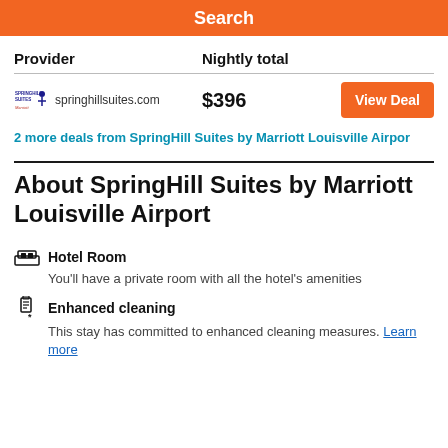Search
| Provider | Nightly total |  |
| --- | --- | --- |
| springhillsuites.com | $396 | View Deal |
2 more deals from SpringHill Suites by Marriott Louisville Airport
About SpringHill Suites by Marriott Louisville Airport
Hotel Room
You'll have a private room with all the hotel's amenities
Enhanced cleaning
This stay has committed to enhanced cleaning measures. Learn more